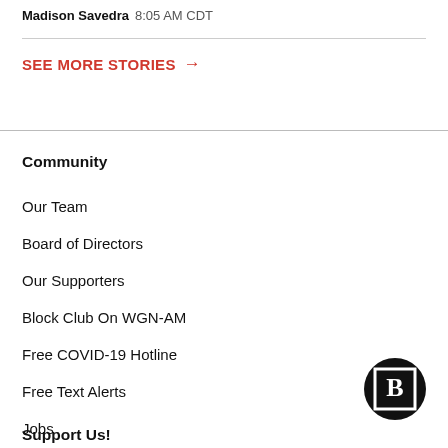Madison Savedra  8:05 AM CDT
SEE MORE STORIES →
Community
Our Team
Board of Directors
Our Supporters
Block Club On WGN-AM
Free COVID-19 Hotline
Free Text Alerts
Jobs
Support Us!
[Figure (logo): Block Club Chicago B logo in black circle]